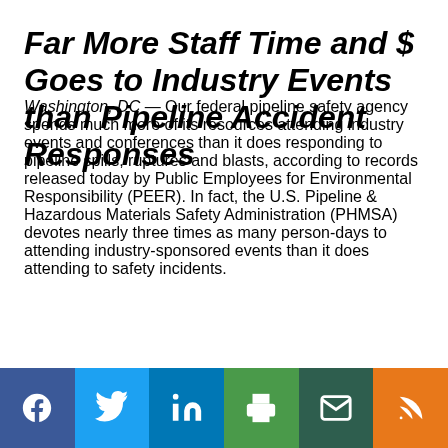Far More Staff Time and $ Goes to Industry Events than Pipeline Accident Responses
Washington, DC — Our federal pipeline safety agency spends much more of its resources attending industry events and conferences than it does responding to pipeline spills, ruptures and blasts, according to records released today by Public Employees for Environmental Responsibility (PEER). In fact, the U.S. Pipeline & Hazardous Materials Safety Administration (PHMSA) devotes nearly three times as many person-days to attending industry-sponsored events than it does attending to safety incidents.
“Its records show PHMSA officials spending [continues below]
[Figure (infographic): Social sharing bar with icons for Facebook, Twitter, LinkedIn, Print, Email, and RSS]